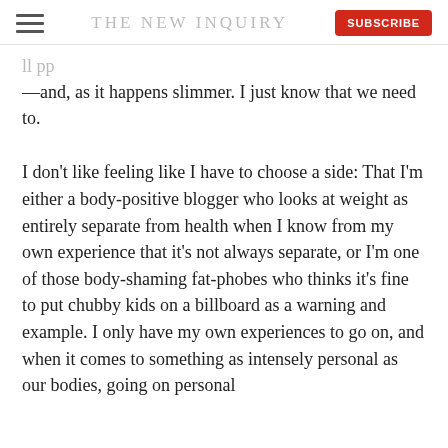THE NEW INQUIRY
—and, as it happens slimmer. I just know that we need to.
I don't like feeling like I have to choose a side: That I'm either a body-positive blogger who looks at weight as entirely separate from health when I know from my own experience that it's not always separate, or I'm one of those body-shaming fat-phobes who thinks it's fine to put chubby kids on a billboard as a warning and example. I only have my own experiences to go on, and when it comes to something as intensely personal as our bodies, going on personal